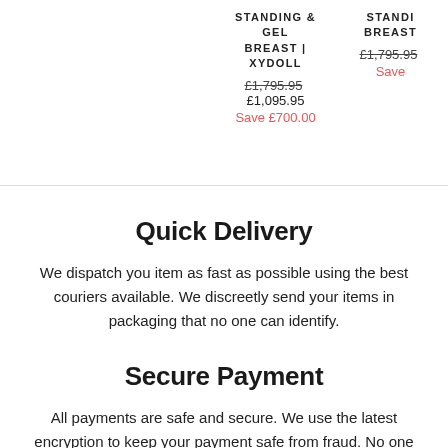STANDING & GEL BREAST | XYDOLL
£1,795.95 £1,095.95
Save £700.00
STANDING BREAST
£1,795.95
Save
Quick Delivery
We dispatch you item as fast as possible using the best couriers available. We discreetly send your items in packaging that no one can identify.
Secure Payment
All payments are safe and secure. We use the latest encryption to keep your payment safe from fraud. No one will be able to see that you have purchased from our site.